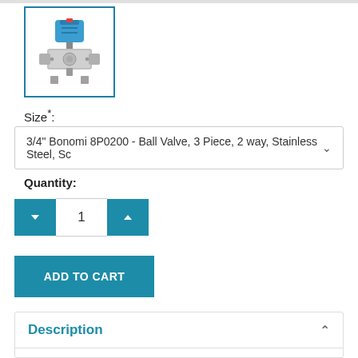[Figure (photo): Bonomi 8P0200 pneumatic actuated stainless steel ball valve, 3-piece construction with blue pneumatic actuator on top]
Size*:
3/4" Bonomi 8P0200 - Ball Valve, 3 Piece, 2 way, Stainless Steel, Sc
Quantity:
1
ADD TO CART
Description
Bonomi 8P0200 - Technical Specification